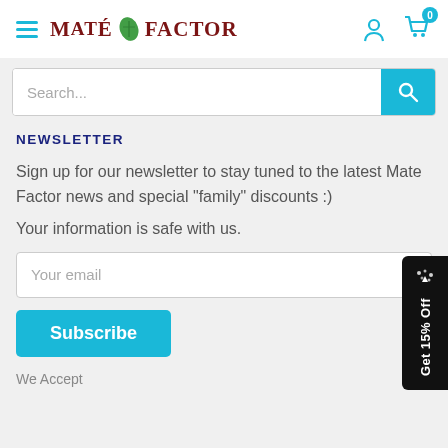[Figure (logo): Mate Factor logo with hamburger menu icon on the left, teal user and cart icons on the right. Cart shows badge '0'.]
[Figure (screenshot): Search bar with placeholder text 'Search...' and teal search button with magnifying glass icon]
NEWSLETTER
Sign up for our newsletter to stay tuned to the latest Mate Factor news and special "family" discounts :)
Your information is safe with us.
[Figure (screenshot): Email input field with placeholder 'Your email']
[Figure (screenshot): Teal Subscribe button]
[Figure (screenshot): Black floating promo tab on right edge reading 'Get 15% Off' vertically with confetti icon]
We Accept